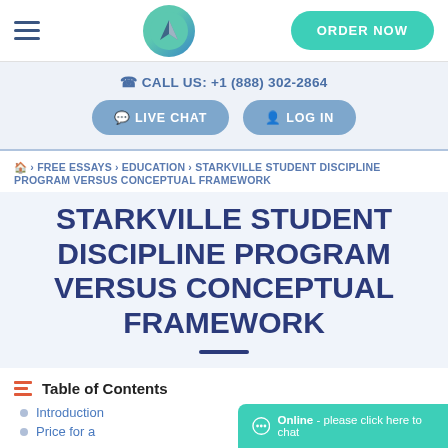ORDER NOW
CALL US: +1 (888) 302-2864
LIVE CHAT   LOG IN
FREE ESSAYS › EDUCATION › STARKVILLE STUDENT DISCIPLINE PROGRAM VERSUS CONCEPTUAL FRAMEWORK
STARKVILLE STUDENT DISCIPLINE PROGRAM VERSUS CONCEPTUAL FRAMEWORK
Table of Contents
Introduction
Price for a
Online - please click here to chat